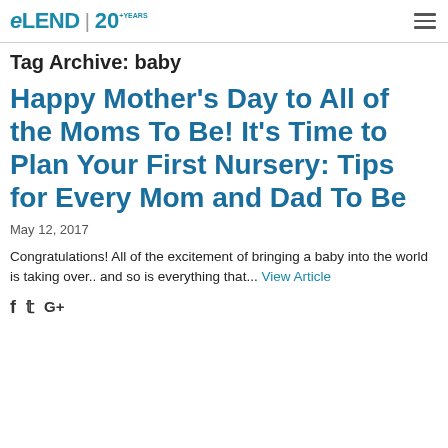eLEND | 20+ YEARS
Tag Archive: baby
Happy Mother's Day to All of the Moms To Be! It's Time to Plan Your First Nursery: Tips for Every Mom and Dad To Be
May 12, 2017
Congratulations! All of the excitement of bringing a baby into the world is taking over.. and so is everything that... View Article
f  🐦  G+